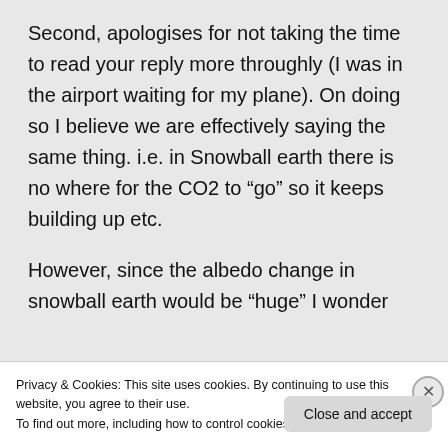Second, apologises for not taking the time to read your reply more throughly (I was in the airport waiting for my plane). On doing so I believe we are effectively saying the same thing. i.e. in Snowball earth there is no where for the CO2 to “go” so it keeps building up etc.
However, since the albedo change in snowball earth would be “huge” I wonder
Privacy & Cookies: This site uses cookies. By continuing to use this website, you agree to their use.
To find out more, including how to control cookies, see here: Cookie Policy